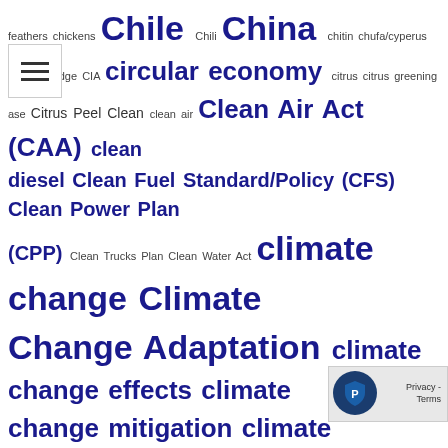feathers chickens Chile Chili China chitin chufa/cyperus ents/nutsedge CIA circular economy citrus citrus greening ase Citrus Peel Clean clean air Clean Air Act (CAA) clean diesel Clean Fuel Standard/Policy (CFS) Clean Power Plan (CPP) Clean Trucks Plan Clean Water Act climate change Climate Change Adaptation climate change effects climate change mitigation climate legislation climate smart agriculture closed-loop system Clostridium thermocellum cloud point clover CNG Conversion kit co co-generation co-location co-operative Co-op Extension co-processing co-products coal Coal and Biomass to Liquid (CBTL) coastal habitat conservation coastal hay Coast Guard cobalt cock's foot coco cocoa Coconut coffee coffee cherries coffee grounds coffee pulp cold-tolerance cold flow college/university Colombia Colorado combined heat and power (CHP) Comment Request commercial flights commercialization commissioning Commodity Credit Corporation (CCC) Commodity Futures Trading Commission (CFTC) commodity trading common reed Community activity community college Community involvement community scale Community Wood Energy Program competition compliance compliance credits compost Compressed Natural Gas (CNG/R-CNG/bioCNG) compression-ignition engine compression ratios computer simulation concrete condensate Congo